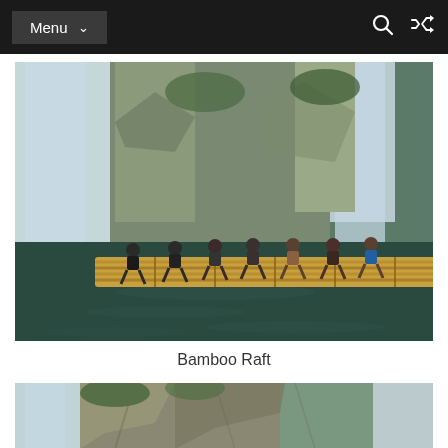Menu
[Figure (photo): Group of people sitting on a large bamboo raft on a dark green pool, with a tall waterfall in the background and rocky cliffs with vegetation.]
Bamboo Raft
[Figure (photo): Partial view of a waterfall with rocky cliff face and green vegetation, cropped at bottom of page.]